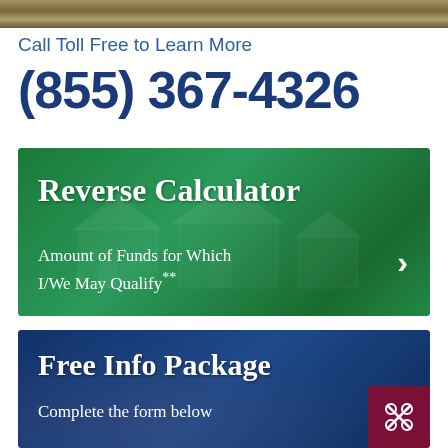[Figure (photo): Partial photo strip at top of page showing wooden/textured surface]
Call Toll Free to Learn More
(855) 367-4326
[Figure (infographic): Green banner with house background image. Title: Reverse Calculator. Subtext: Amount of Funds for Which I/We May Qualify** with right arrow button.]
[Figure (infographic): Dark blue banner with people in background. Title: Free Info Package. Subtext: Complete the form below. Red close button in bottom right corner.]